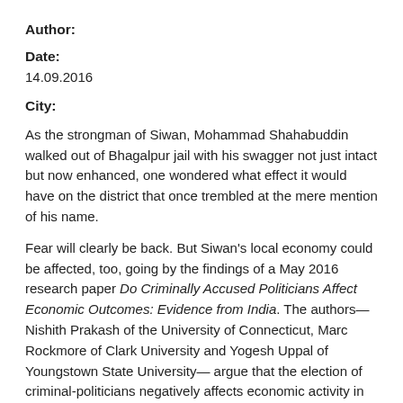Author:
Date:
14.09.2016
City:
As the strongman of Siwan, Mohammad Shahabuddin walked out of Bhagalpur jail with his swagger not just intact but now enhanced, one wondered what effect it would have on the district that once trembled at the mere mention of his name.
Fear will clearly be back. But Siwan's local economy could be affected, too, going by the findings of a May 2016 research paper Do Criminally Accused Politicians Affect Economic Outcomes: Evidence from India. The authors— Nishith Prakash of the University of Connecticut, Marc Rockmore of Clark University and Yogesh Uppal of Youngstown State University— argue that the election of criminal-politicians negatively affects economic activity in the constituency and could even pull down national gross domestic product (GDP).